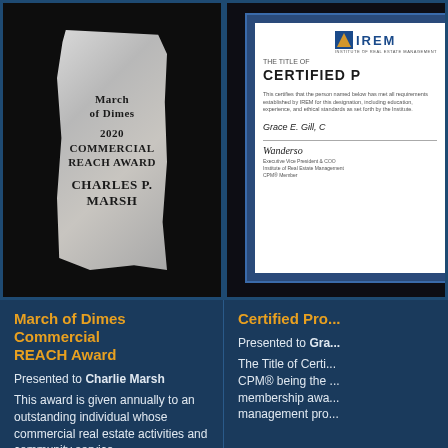[Figure (photo): A stone award plaque engraved with 'March of Dimes 2020 Commercial Reach Award Charles P. Marsh' against a dark background]
[Figure (photo): An IREM Certified Property Manager (CPM) certificate framed in a blue border, awarded to Grace E. Gill, with a signature, against a dark background]
March of Dimes Commercial REACH Award
Presented to Charlie Marsh
This award is given annually to an outstanding individual whose commercial real estate activities and community service
Certified Pro...
Presented to Gra...
The Title of Certi... CPM® being the ... membership awa... management pro...